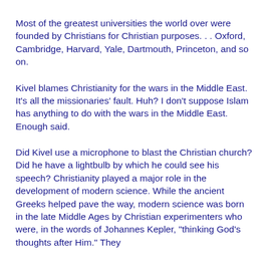Most of the greatest universities the world over were founded by Christians for Christian purposes. . . Oxford, Cambridge, Harvard, Yale, Dartmouth, Princeton, and so on.
Kivel blames Christianity for the wars in the Middle East. It's all the missionaries' fault. Huh? I don't suppose Islam has anything to do with the wars in the Middle East. Enough said.
Did Kivel use a microphone to blast the Christian church? Did he have a lightbulb by which he could see his speech? Christianity played a major role in the development of modern science. While the ancient Greeks helped pave the way, modern science was born in the late Middle Ages by Christian experimenters who were, in the words of Johannes Kepler, "thinking God's thoughts after Him." They